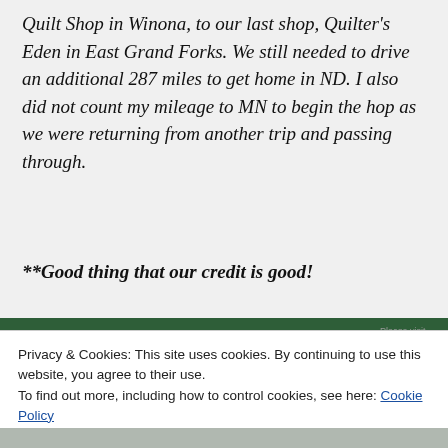Quilt Shop in Winona, to our last shop, Quilter's Eden in East Grand Forks. We still needed to drive an additional 287 miles to get home in ND. I also did not count my mileage to MN to begin the hop as we were returning from another trip and passing through.
**Good thing that our credit is good!
[Figure (photo): Partial view of a quilt shop receipt or document with red cursive 'Quilt' text on a green header background]
Privacy & Cookies: This site uses cookies. By continuing to use this website, you agree to their use.
To find out more, including how to control cookies, see here: Cookie Policy
Close and accept
[Figure (photo): Bottom partial view of a quilt shop document or receipt]